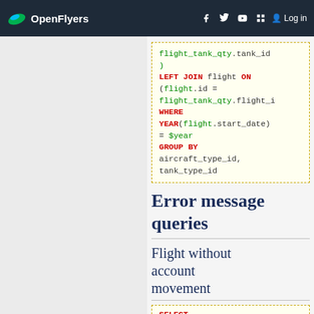OpenFlyers — Log in
[Figure (screenshot): SQL code block showing LEFT JOIN flight ON (flight.id = flight_tank_qty.flight_i WHERE YEAR(flight.start_date) = $year GROUP BY aircraft_type_id, tank_type_id]
Error message queries
Flight without account movement
[Figure (screenshot): SQL code block beginning with SELECT]